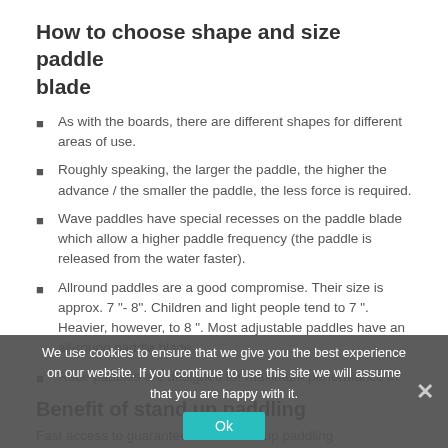How to choose shape and size paddle blade
As with the boards, there are different shapes for different areas of use.
Roughly speaking, the larger the paddle, the higher the advance / the smaller the paddle, the less force is required.
Wave paddles have special recesses on the paddle blade which allow a higher paddle frequency (the paddle is released from the water faster).
Allround paddles are a good compromise. Their size is approx. 7 "- 8". Children and light people tend to 7 ". Heavier, however, to 8 ". Most adjustable paddles have an all-round paddle blade.
Race paddles are designed for maximum performance in
We use cookies to ensure that we give you the best experience on our website. If you continue to use this site we will assume that you are happy with it.
Benefit of stand up paddling
Fast access to guaranteed with stand up paddling